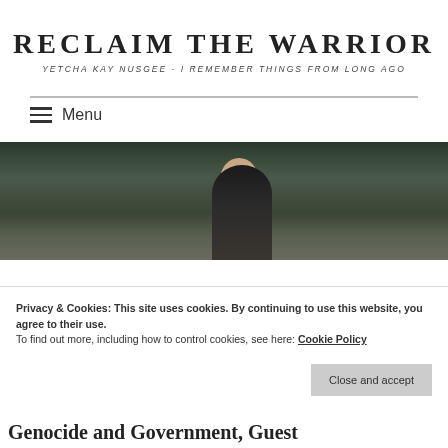RECLAIM THE WARRIOR
YETCHA KAY NUSGEE - I REMEMBER THINGS FROM LONG AGO
☰ Menu
[Figure (photo): A person with dark hair photographed outdoors against a backdrop of dark evergreen trees and a grey sky. Only the top of their head and side of face is visible.]
Privacy & Cookies: This site uses cookies. By continuing to use this website, you agree to their use.
To find out more, including how to control cookies, see here: Cookie Policy
Close and accept
Genocide and Government, Guest